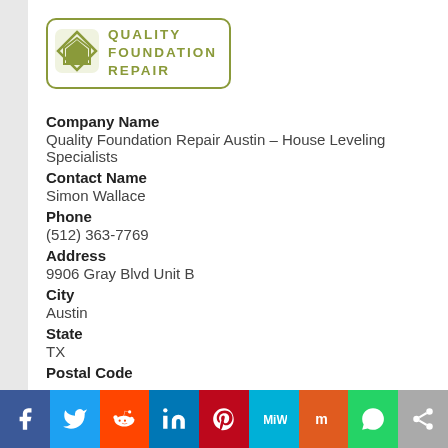[Figure (logo): Quality Foundation Repair logo with green house icon and text in olive/green color inside a rounded rectangle border]
Company Name
Quality Foundation Repair Austin – House Leveling Specialists
Contact Name
Simon Wallace
Phone
(512) 363-7769
Address
9906 Gray Blvd Unit B
City
Austin
State
TX
Postal Code
[Figure (infographic): Social media share bar with icons: Facebook, Twitter, Reddit, LinkedIn, Pinterest, MeWe, Mix, WhatsApp, Share]